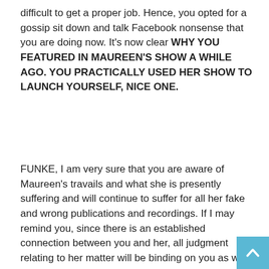difficult to get a proper job. Hence, you opted for a gossip sit down and talk Facebook nonsense that you are doing now. It's now clear WHY YOU FEATURED IN MAUREEN'S SHOW A WHILE AGO. YOU PRACTICALLY USED HER SHOW TO LAUNCH YOURSELF, NICE ONE.
FUNKE, I am very sure that you are aware of Maureen's travails and what she is presently suffering and will continue to suffer for all her fake and wrong publications and recordings. If I may remind you, since there is an established connection between you and her, all judgment relating to her matter will be binding on you as well.